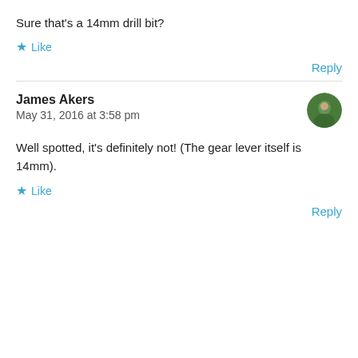Sure that’s a 14mm drill bit?
★ Like
Reply
James Akers
May 31, 2016 at 3:58 pm
Well spotted, it’s definitely not! (The gear lever itself is 14mm).
★ Like
Reply